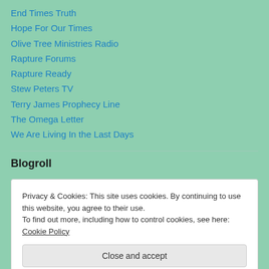End Times Truth
Hope For Our Times
Olive Tree Ministries Radio
Rapture Forums
Rapture Ready
Stew Peters TV
Terry James Prophecy Line
The Omega Letter
We Are Living In the Last Days
Blogroll
Privacy & Cookies: This site uses cookies. By continuing to use this website, you agree to their use.
To find out more, including how to control cookies, see here: Cookie Policy
FireBreathingChristian